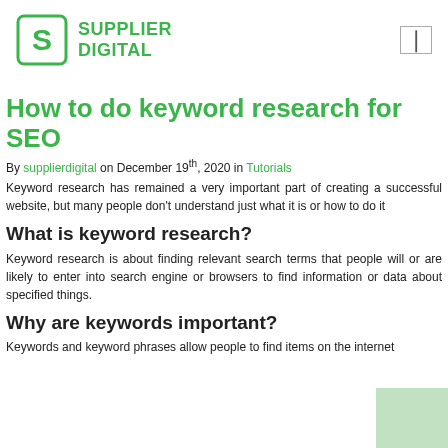SUPPLIER DIGITAL
How to do keyword research for SEO
By supplierdigital on December 19th, 2020 in Tutorials
Keyword research has remained a very important part of creating a successful website, but many people don't understand just what it is or how to do it
What is keyword research?
Keyword research is about finding relevant search terms that people will or are likely to enter into search engine or browsers to find information or data about specified things.
Why are keywords important?
Keywords and keyword phrases allow people to find items on the internet